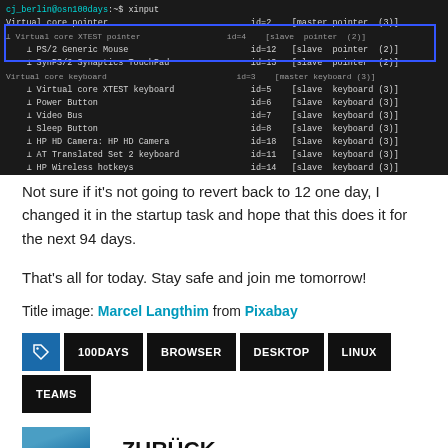[Figure (screenshot): Terminal/command line screenshot showing xinput device list output on dark background. Blue rectangle highlights two lines: PS/2 Generic Mouse (id=12, slave pointer 2) and SynPS/2 Synaptics TouchPad (id=13, slave pointer 2). Other visible devices include Virtual core pointer (id=2, master pointer 3), Virtual core XTEST pointer, Virtual core keyboard, Virtual core XTEST keyboard (id=5), Power Button (id=6), Video Bus (id=7), Sleep Button (id=8), HP HD Camera: HP HD Camera (id=18), AT Translated Set 2 keyboard (id=11), HP Wireless hotkeys (id=14), HP WMI hotkeys (id=15). Command prompt: cj_berlin@osn100days:~$]
Not sure if it’s not going to revert back to 12 one day, I changed it in the startup task and hope that this does it for the next 94 days.
That’s all for today. Stay safe and join me tomorrow!
Title image: Marcel Langthim from Pixabay
100DAYS
BROWSER
DESKTOP
LINUX
TEAMS
« ZURÜCK